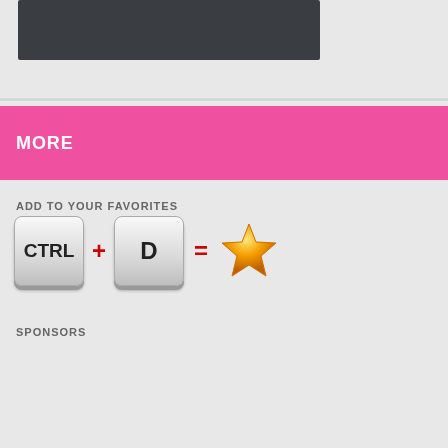[Figure (screenshot): Dark gray bar at top representing a UI or video element]
MORE
ADD TO YOUR FAVORITES
[Figure (infographic): Keyboard shortcut graphic: CTRL + D = star (favorite) icon]
SPONSORS